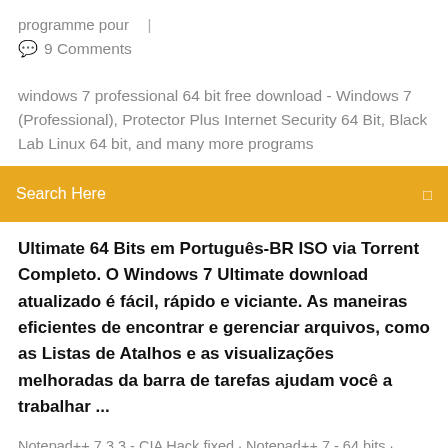programme pour  |
💬 9 Comments
windows 7 professional 64 bit free download - Windows 7 (Professional), Protector Plus Internet Security 64 Bit, Black Lab Linux 64 bit, and many more programs
Search Here
Ultimate 64 Bits em Português-BR ISO via Torrent Completo. O Windows 7 Ultimate download atualizado é fácil, rápido e viciante. As maneiras eficientes de encontrar e gerenciar arquivos, como as Listas de Atalhos e as visualizações melhoradas da barra de tarefas ajudam você a trabalhar ...
Notepad++ 7.3.3 - CIA Hack fixed · Notepad++ 7 - 64 bits · Notepad++ 6.9 · Notepad++ 6.8.7 Black Friday Discount · Notepad++ 6.7.4 - Je suis Charlie edition  Mar 30, 2020  Windows 7 Home Premium Pro 64-bit product key you can try to